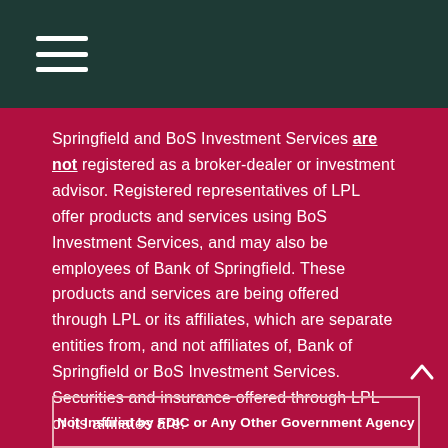Springfield and BoS Investment Services are not registered as a broker-dealer or investment advisor. Registered representatives of LPL offer products and services using BoS Investment Services, and may also be employees of Bank of Springfield. These products and services are being offered through LPL or its affiliates, which are separate entities from, and not affiliates of, Bank of Springfield or BoS Investment Services. Securities and insurance offered through LPL or its affiliates are:
Not Insured by FDIC or Any Other Government Agency